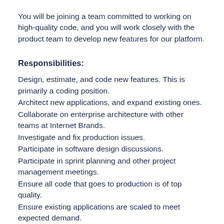You will be joining a team committed to working on high-quality code, and you will work closely with the product team to develop new features for our platform.
Responsibilities:
Design, estimate, and code new features. This is primarily a coding position.
Architect new applications, and expand existing ones.
Collaborate on enterprise architecture with other teams at Internet Brands.
Investigate and fix production issues.
Participate in software design discussions.
Participate in sprint planning and other project management meetings.
Ensure all code that goes to production is of top quality.
Ensure existing applications are scaled to meet expected demand.